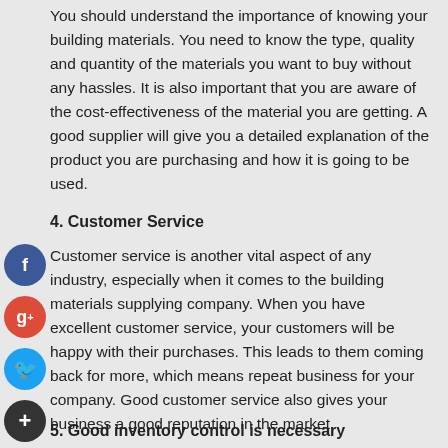You should understand the importance of knowing your building materials. You need to know the type, quality and quantity of the materials you want to buy without any hassles. It is also important that you are aware of the cost-effectiveness of the material you are getting. A good supplier will give you a detailed explanation of the product you are purchasing and how it is going to be used.
4. Customer Service
Customer service is another vital aspect of any industry, especially when it comes to the building materials supplying company. When you have excellent customer service, your customers will be happy with their purchases. This leads to them coming back for more, which means repeat business for your company. Good customer service also gives your business a good reputation in the market
5. Good inventory control is necessary